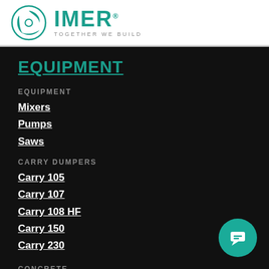IMER — TOGETHER WE BUILD
EQUIPMENT
EQUIPMENT
Mixers
Pumps
Saws
CARRY DUMPERS
Carry 105
Carry 107
Carry 108 HF
Carry 150
Carry 230
CONCRETE
Precast